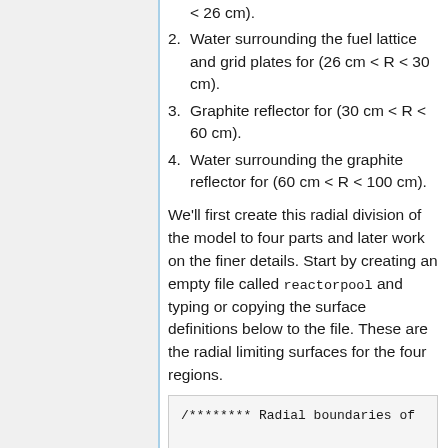< 26 cm).
Water surrounding the fuel lattice and grid plates for (26 cm < R < 30 cm).
Graphite reflector for (30 cm < R < 60 cm).
Water surrounding the graphite reflector for (60 cm < R < 100 cm).
We'll first create this radial division of the model to four parts and later work on the finer details. Start by creating an empty file called reactorpool and typing or copying the surface definitions below to the file. These are the radial limiting surfaces for the four regions.
/******** Radial boundaries of
% --- Outer radius of the suppo